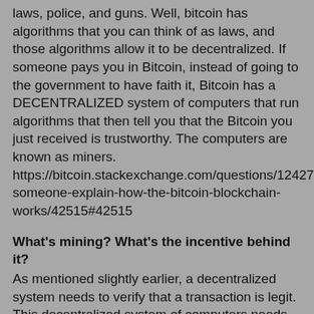laws, police, and guns. Well, bitcoin has algorithms that you can think of as laws, and those algorithms allow it to be decentralized. If someone pays you in Bitcoin, instead of going to the government to have faith it, Bitcoin has a DECENTRALIZED system of computers that run algorithms that then tell you that the Bitcoin you just received is trustworthy. The computers are known as miners.
https://bitcoin.stackexchange.com/questions/12427/can-someone-explain-how-the-bitcoin-blockchain-works/42515#42515
What's mining? What's the incentive behind it?
As mentioned slightly earlier, a decentralized system needs to verify that a transaction is legit. This decentralized system of computers needs to be pay electricity bills. So there must be some incentive for them to verify transactions.
The incentives they get are:
- They get paid per transaction via a transaction fee
- They MAKE some bitcoin for every Block they add, called a